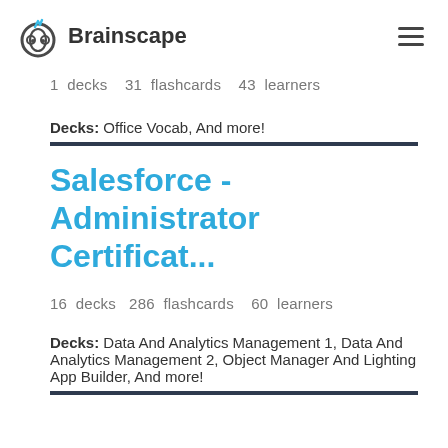Brainscape
1 decks   31 flashcards   43 learners
Decks: Office Vocab, And more!
Salesforce - Administrator Certificat...
16 decks   286 flashcards   60 learners
Decks: Data And Analytics Management 1, Data And Analytics Management 2, Object Manager And Lighting App Builder, And more!